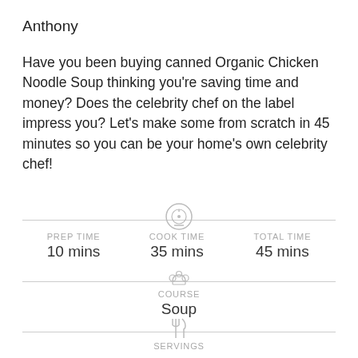Anthony
Have you been buying canned Organic Chicken Noodle Soup thinking you’re saving time and money? Does the celebrity chef on the label impress you? Let's make some from scratch in 45 minutes so you can be your home’s own celebrity chef!
[Figure (infographic): Timer icon above divider line for time section]
PREP TIME
10 mins
COOK TIME
35 mins
TOTAL TIME
45 mins
[Figure (infographic): Chef hat icon above divider line for course section]
COURSE
Soup
[Figure (infographic): Fork and knife icon above divider line for servings section]
SERVINGS